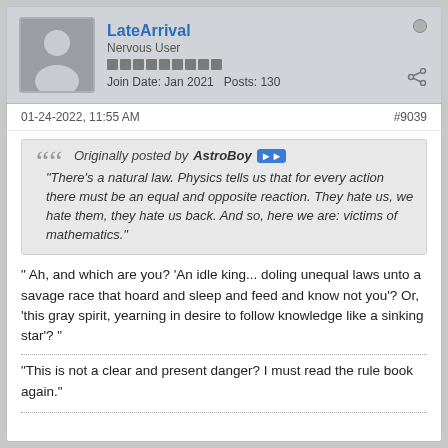LateArrival | Nervous User | Join Date: Jan 2021  Posts: 130
01-24-2022, 11:55 AM  #9039
Originally posted by AstroBoy
"There's a natural law. Physics tells us that for every action there must be an equal and opposite reaction. They hate us, we hate them, they hate us back. And so, here we are: victims of mathematics."
" Ah, and which are you? 'An idle king... doling unequal laws unto a savage race that hoard and sleep and feed and know not you'? Or, 'this gray spirit, yearning in desire to follow knowledge like a sinking star'? "
"This is not a clear and present danger? I must read the rule book again."